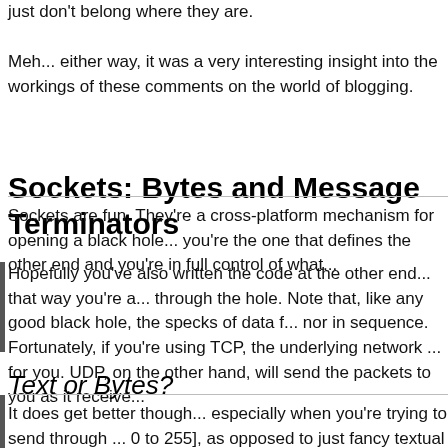just don't belong where they are.
Meh... either way, it was a very interesting insight into the workings of the comments on the world of blogging.
Sockets: Bytes and Message Terminators
Sockets are fun. They're a cross-platform mechanism for opening a black hole... you're the one that defines the other end and you're in full control of what...
Hopefully you've also written the code at the other end... that way you're a... through the hole. Note that, like any good black hole, the specks of data f... nor in sequence. Fortunately, if you're using TCP, the underlying network ... for you. UDP, on the other hand, will send the packets to you as it receive...
Text or Bytes?
It does get better though... especially when you're trying to send through ... 0 to 255], as opposed to just fancy textual strings in the ASCII format. The... legible messages; a chat program perhaps? But useless if you want to se... quickly and efficiently.
A quick example... say you want to send the value of a HTML colour. Let's... (250,250,250). You could send the string "250,250,250" and the receiver c... save further chars by passing in "250250250" and, as long as your receiv...